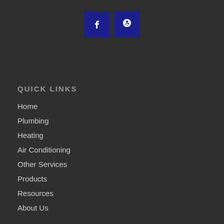[Figure (logo): Two social media icon buttons: Facebook (f) and Yelp (*) in dark navy blue square boxes]
QUICK LINKS
Home
Plumbing
Heating
Air Conditioning
Other Services
Products
Resources
About Us